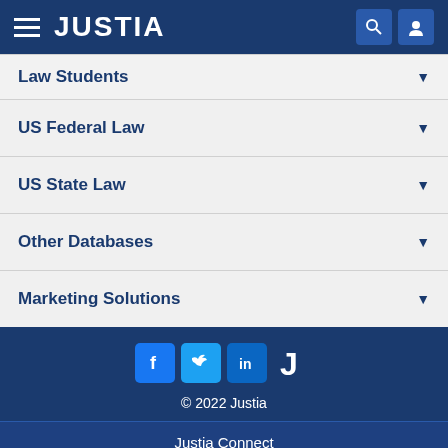JUSTIA
Law Students
US Federal Law
US State Law
Other Databases
Marketing Solutions
[Figure (logo): Social media icons: Facebook, Twitter, LinkedIn, and Justia J logo]
© 2022 Justia
Justia Connect
Legal Portal